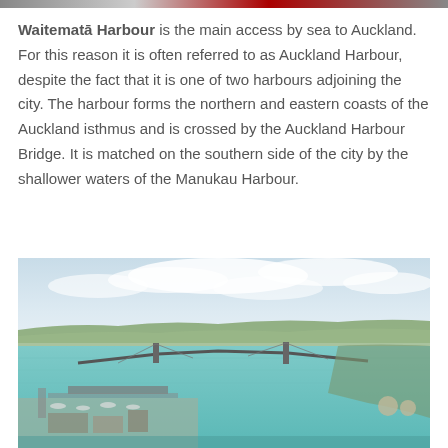Waitematā Harbour is the main access by sea to Auckland. For this reason it is often referred to as Auckland Harbour, despite the fact that it is one of two harbours adjoining the city. The harbour forms the northern and eastern coasts of the Auckland isthmus and is crossed by the Auckland Harbour Bridge. It is matched on the southern side of the city by the shallower waters of the Manukau Harbour.
[Figure (photo): Aerial photograph of Waitematā Harbour showing the Auckland Harbour Bridge spanning the harbour, with marina/wharves in the foreground, turquoise water, city and suburbs in the background, and a cloudy sky above.]